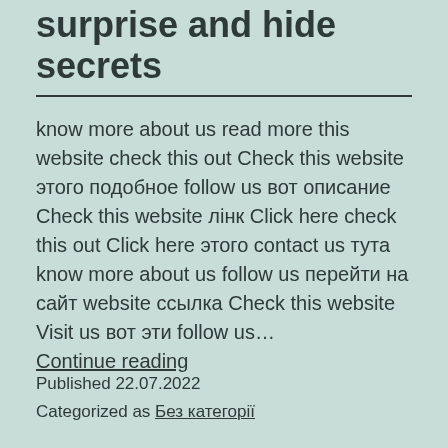surprise and hide secrets
know more about us read more this website check this out Check this website этого подобное follow us вот описание Check this website лінк Click here check this out Click here этого contact us тута know more about us follow us перейти на сайт website ссылка Check this website Visit us вот эти follow us… Continue reading
Published 22.07.2022
Categorized as Без категорії